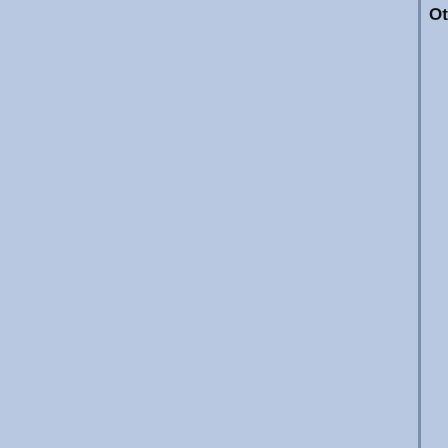Other mutations in this stock
To
| G |
| --- |
| A |
| A |
| A |
| A |
| A |
| A |
| A |
| A |
| A |
| A |
| B |
| B |
| C |
| C |